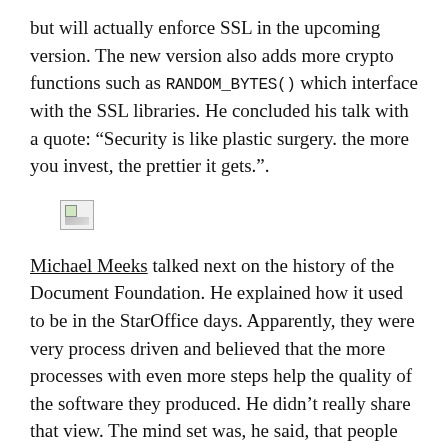but will actually enforce SSL in the upcoming version. The new version also adds more crypto functions such as RANDOM_BYTES() which interface with the SSL libraries. He concluded his talk with a quote: “Security is like plastic surgery. the more you invest, the prettier it gets.”.
[Figure (photo): Broken/missing image placeholder (small icon with border)]
Michael Meeks talked next on the history of the Document Foundation. He explained how it used to be in the StarOffice days. Apparently, they were very process driven and believed that the more processes with even more steps help the quality of the software they produced. He didn’t really share that view. The mind set was, he said, that people would go into a shop and buy a box with the software. He sees that behaviour declining steeply. So then hackers came and branched StarOffice into